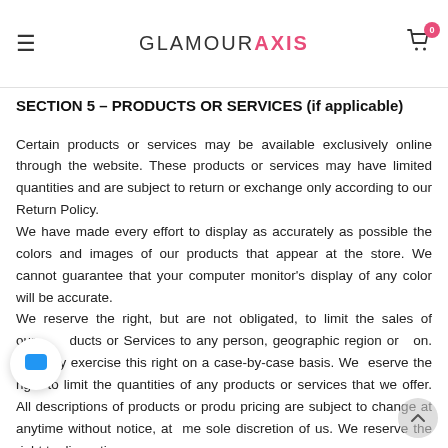GLAMOURAXIS
SECTION 5 – PRODUCTS OR SERVICES (if applicable)
Certain products or services may be available exclusively online through the website. These products or services may have limited quantities and are subject to return or exchange only according to our Return Policy.
We have made every effort to display as accurately as possible the colors and images of our products that appear at the store. We cannot guarantee that your computer monitor's display of any color will be accurate.
We reserve the right, but are not obligated, to limit the sales of our products or Services to any person, geographic region or jurisdiction. We may exercise this right on a case-by-case basis. We reserve the right to limit the quantities of any products or services that we offer. All descriptions of products or product pricing are subject to change at anytime without notice, at the sole discretion of us. We reserve the right to discontinue any